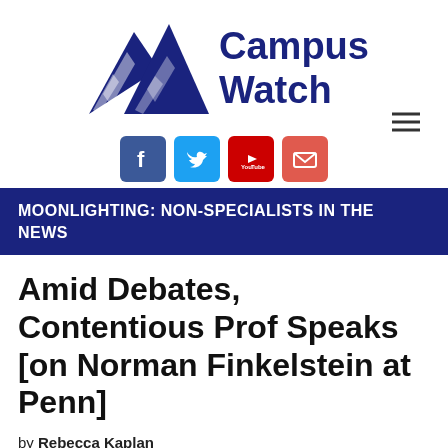[Figure (logo): Campus Watch logo with mountain triangle SVG graphic and social media icons (Facebook, Twitter, YouTube, Email)]
MOONLIGHTING: NON-SPECIALISTS IN THE NEWS
Amid Debates, Contentious Prof Speaks [on Norman Finkelstein at Penn]
by Rebecca Kaplan
The Daily Pennsylvanian
March 21, 2007